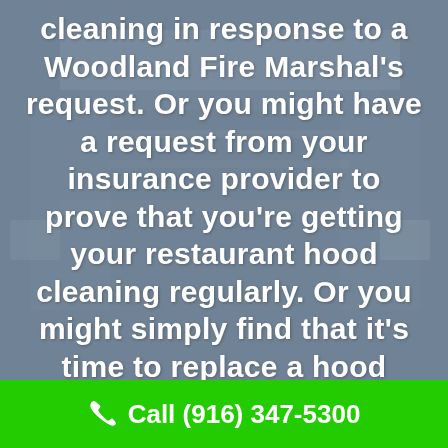[Figure (photo): Gray-tinted background photo of a commercial kitchen hood/exhaust system with a blue-gray overlay]
cleaning in response to a Woodland Fire Marshal's request. Or you might have a request from your insurance provider to prove that you're getting your restaurant hood cleaning regularly. Or you might simply find that it's time to replace a hood cleaning service that's not meeting
Call (916) 347-5300